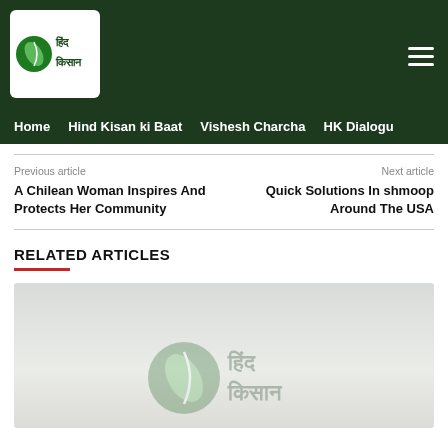Hind Kisan - Home | Hind Kisan ki Baat | Vishesh Charcha | HK Dialogu
Previous article
A Chilean Woman Inspires And Protects Her Community
Next article
Quick Solutions In shmoop Around The USA
RELATED ARTICLES
[Figure (photo): A faded image showing a logo with Hindi text (Hind Kisan) on a light background, possibly a watermarked photo]